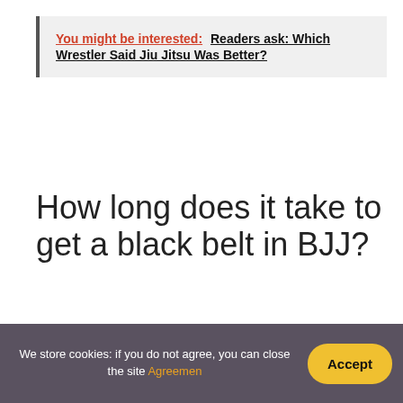You might be interested:  Readers ask: Which Wrestler Said Jiu Jitsu Was Better?
How long does it take to get a black belt in BJJ?
The Brazilian Jiu-Jitsu belt system is much stricter than most other martial arts. It can take up to 10 years to establish a black belt. There are only a few belts, so we spend a lot of time on each belt. Moreover, your progress is not linear.
We store cookies: if you do not agree, you can close the site Agreemen  Accept